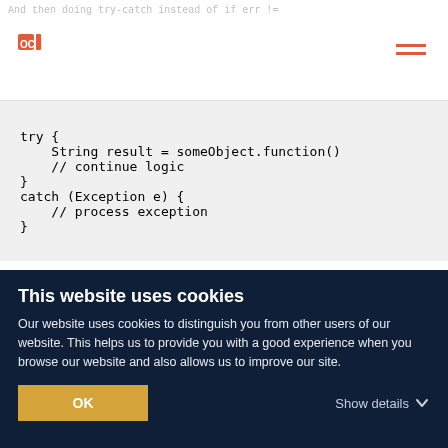And then doing try-catch instead of if err !=
try {
    String result = someObject.function()
    // continue logic
}
catch (Exception e) {
    // process exception
}
Of course, there are more differences than this. For example, an error can't crash your program, whereas an Exception can. There are others as well, and I want to focus on them in this article.
This website uses cookies
Our website uses cookies to distinguish you from other users of our website. This helps us to provide you with a good experience when you browse our website and also allows us to improve our site.
OK   Show details